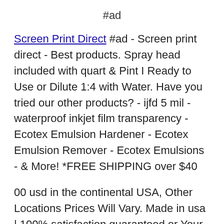#ad
Screen Print Direct #ad - Screen print direct - Best products. Spray head included with quart & Pint I Ready to Use or Dilute 1:4 with Water. Have you tried our other products? - ijfd 5 mil - waterproof inkjet film transparency - Ecotex Emulsion Hardener - Ecotex Emulsion Remover - Ecotex Emulsions - & More! *FREE SHIPPING over $40
00 usd in the continental USA, Other Locations Prices Will Vary. Made in usa | 100% satisfaction guaranteed or Your Money Back! Emulsions, screen Printing Chemistry and More Available here on Amazon. The image will be locked. Ecotex emulsion remover will economically and safely remove all types of